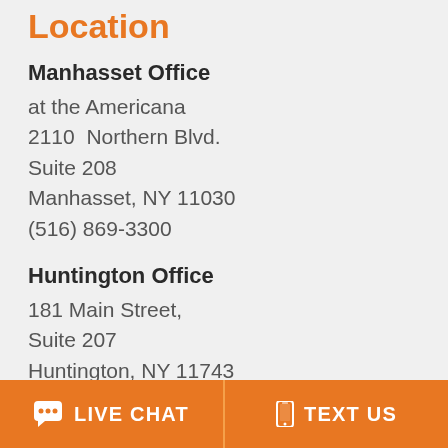Location
Manhasset Office
at the Americana
2110  Northern Blvd.
Suite 208
Manhasset, NY 11030
(516) 869-3300
Huntington Office
181 Main Street,
Suite 207
Huntington, NY 11743
(631) 427-3678
LIVE CHAT   TEXT US